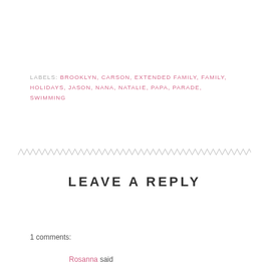LABELS: BROOKLYN, CARSON, EXTENDED FAMILY, FAMILY, HOLIDAYS, JASON, NANA, NATALIE, PAPA, PARADE, SWIMMING
[Figure (other): Decorative zigzag/chevron divider line made of small diagonal tick marks]
LEAVE A REPLY
1 comments:
Rosanna said